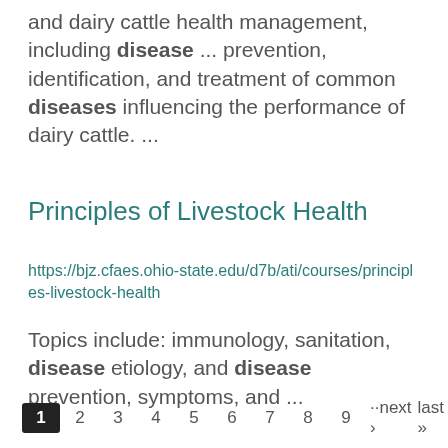and dairy cattle health management, including disease ... prevention, identification, and treatment of common diseases influencing the performance of dairy cattle. ...
Principles of Livestock Health
https://bjz.cfaes.ohio-state.edu/d7b/ati/courses/principles-livestock-health
Topics include: immunology, sanitation, disease etiology, and disease prevention, symptoms, and ...
1  2  3  4  5  6  7  8  9  ··next ›  last »